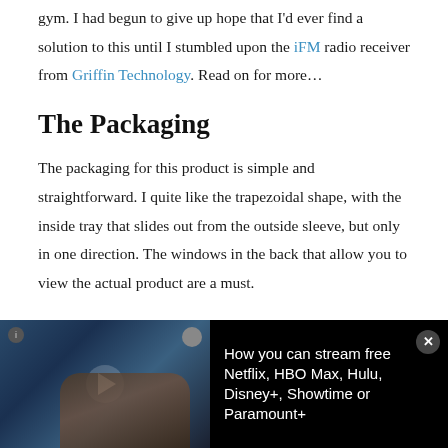gym.  I had begun to give up hope that I'd ever find a solution to this until I stumbled upon the iFM radio receiver from Griffin Technology.  Read on for more…
The Packaging
The packaging for this product is simple and straightforward.  I quite like the trapezoidal shape, with the inside tray that slides out from the outside sleeve, but only in one direction.   The windows in the back that allow you to view the actual product are a must.
[Figure (other): Video ad banner at bottom of page showing a hand holding a TV remote control with streaming service logos. Text reads: How you can stream free Netflix, HBO Max, Hulu, Disney+, Showtime or Paramount+]